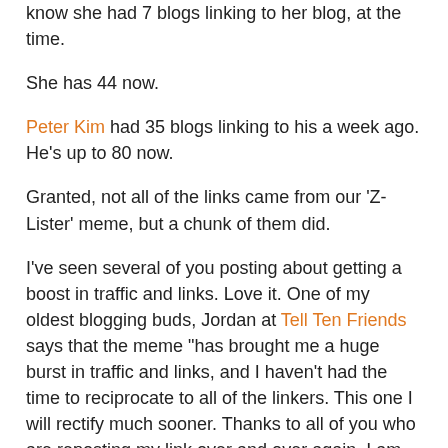know she had 7 blogs linking to her blog, at the time.
She has 44 now.
Peter Kim had 35 blogs linking to his a week ago. He's up to 80 now.
Granted, not all of the links came from our 'Z-Lister' meme, but a chunk of them did.
I've seen several of you posting about getting a boost in traffic and links. Love it. One of my oldest blogging buds, Jordan at Tell Ten Friends says that the meme "has brought me a huge burst in traffic and links, and I haven't had the time to reciprocate to all of the linkers. This one I will rectify much sooner. Thanks to all of you who are reposting my link over and over again, I am entirely grateful. I haven't checked yet, but you might have moved me up the Technorati ladder quite a few notches. In blog land, that's like hard currency."
And if anyone's wondering, I believe I had around 290 blogs linking here before leaving the 'Z-Lister' post, and now I'm at